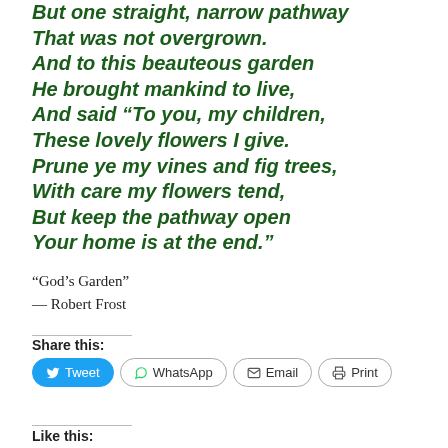But one straight, narrow pathway
That was not overgrown.
And to this beauteous garden
He brought mankind to live,
And said “To you, my children,
These lovely flowers I give.
Prune ye my vines and fig trees,
With care my flowers tend,
But keep the pathway open
Your home is at the end.”
“God’s Garden”
— Robert Frost
Share this:
Like this: